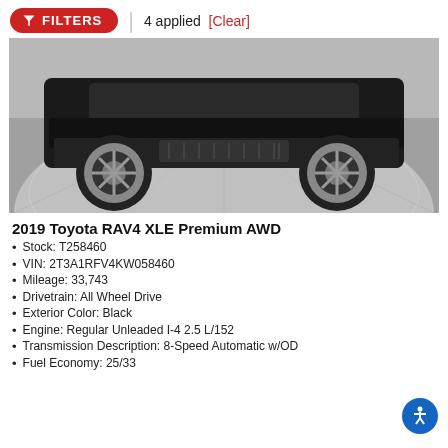FILTERS | 4 applied [Clear]
[Figure (photo): Black Toyota RAV4 XLE Premium AWD photographed from the front-low angle on a circular silver/grey rotating platform in a showroom.]
2019 Toyota RAV4 XLE Premium AWD
Stock: T258460
VIN: 2T3A1RFV4KW058460
Mileage: 33,743
Drivetrain: All Wheel Drive
Exterior Color: Black
Engine: Regular Unleaded I-4 2.5 L/152
Transmission Description: 8-Speed Automatic w/OD
Fuel Economy: 25/33